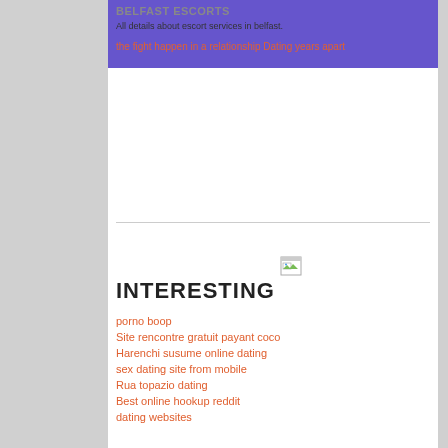BELFAST ESCORTS
All details about escort services in belfast.
the fight happen in a relationship Dating years apart
[Figure (photo): Broken image placeholder icon]
INTERESTING
porno boop
Site rencontre gratuit payant coco
Harenchi susume online dating
sex dating site from mobile
Rua topazio dating
Best online hookup reddit
dating websites